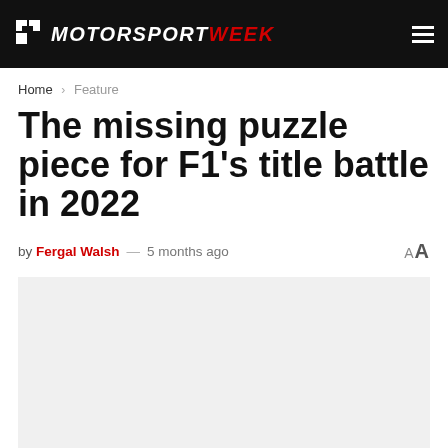MOTORSPORT WEEK
Home > Feature
The missing puzzle piece for F1's title battle in 2022
by Fergal Walsh — 5 months ago
[Figure (photo): Article hero image placeholder (light grey background)]